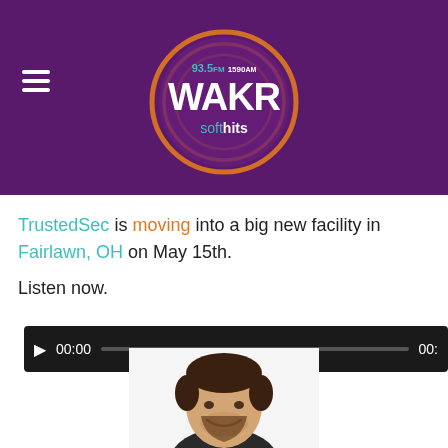[Figure (logo): WAKR 93.5 FM 1590 AM soft hits radio station logo on purple background with hamburger menu icon]
TrustedSec is moving into a big new facility in Fairlawn, OH on May 15th.
Listen now.
[Figure (other): Audio player with play button, 00:00 timestamp and progress bar on dark background]
[Figure (photo): Portrait photo of a man with short dark hair and a beard, smiling, wearing dark clothing]